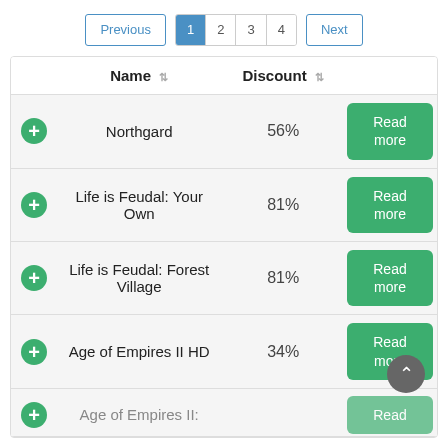| Name | Discount |  |
| --- | --- | --- |
| Northgard | 56% | Read more |
| Life is Feudal: Your Own | 81% | Read more |
| Life is Feudal: Forest Village | 81% | Read more |
| Age of Empires II HD | 34% | Read more |
| Age of Empires II... |  | Read... |